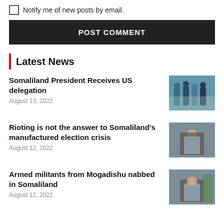Notify me of new posts by email.
POST COMMENT
Latest News
Somaliland President Receives US delegation
August 13, 2022
Rioting is not the answer to Somaliland's manufactured election crisis
August 12, 2022
Armed militants from Mogadishu nabbed in Somaliland
August 12, 2022